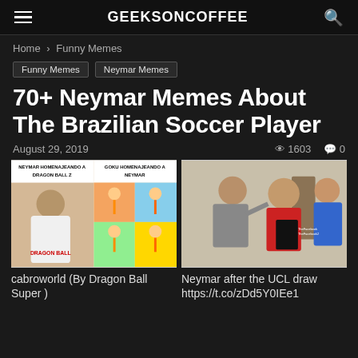GEEKSONCOFFEE
Home › Funny Memes
Funny Memes
Neymar Memes
70+ Neymar Memes About The Brazilian Soccer Player
August 29, 2019   1603   0
[Figure (photo): Left meme: Two-panel meme comparing Neymar wearing Dragon Ball Z shirt vs Goku posing like Neymar. Text: NEYMAR HOMENAJEANDO A DRAGON BALL Z / GOKU HOMENAJEANDO A NEYMAR. Right meme: Cartoon parody of Neymar, Messi and Suarez from a famous meme template.]
cabroworld (By Dragon Ball Super )
Neymar after the UCL draw https://t.co/zDd5Y0IEe1